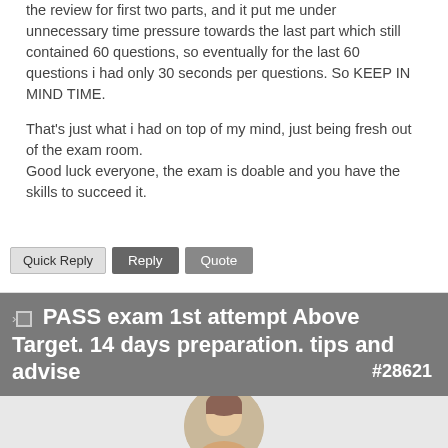the review for first two parts, and it put me under unnecessary time pressure towards the last part which still contained 60 questions, so eventually for the last 60 questions i had only 30 seconds per questions. So KEEP IN MIND TIME.
That's just what i had on top of my mind, just being fresh out of the exam room.
Good luck everyone, the exam is doable and you have the skills to succeed it.
PASS exam 1st attempt Above Target. 14 days preparation. tips and advise #28621
[Figure (photo): Circular avatar photo of a person, partially visible at bottom of page]